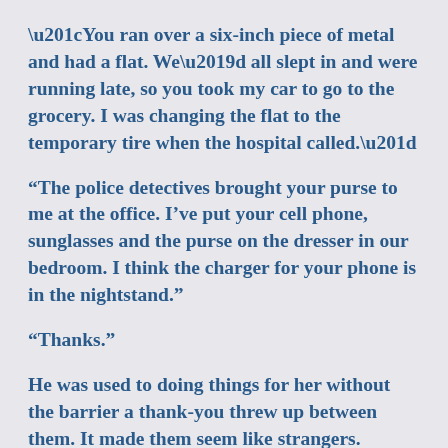“You ran over a six-inch piece of metal and had a flat. We’d all slept in and were running late, so you took my car to go to the grocery. I was changing the flat to the temporary tire when the hospital called.”
“The police detectives brought your purse to me at the office. I’ve put your cell phone, sunglasses and the purse on the dresser in our bedroom. I think the charger for your phone is in the nightstand.”
“Thanks.”
He was used to doing things for her without the barrier a thank-you threw up between them. It made them seem like strangers.
He’d shared a bed with her for ten years, and the loss of